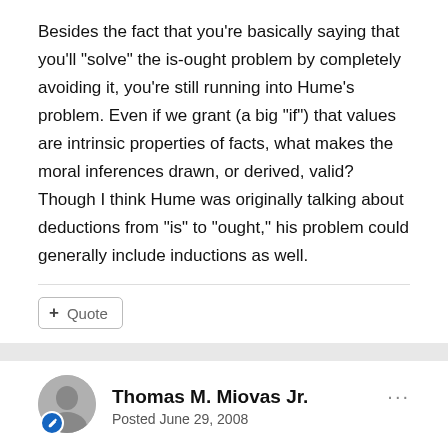Besides the fact that you're basically saying that you'll "solve" the is-ought problem by completely avoiding it, you're still running into Hume's problem. Even if we grant (a big "if") that values are intrinsic properties of facts, what makes the moral inferences drawn, or derived, valid? Though I think Hume was originally talking about deductions from "is" to "ought," his problem could generally include inductions as well.
+ Quote
Thomas M. Miovas Jr.
Posted June 29, 2008
eriatarka said:
'Intuition' is just a term for sensory data ('immediate representations') in Kant. It doesn't have the same meaning as the word 'intuition' today.